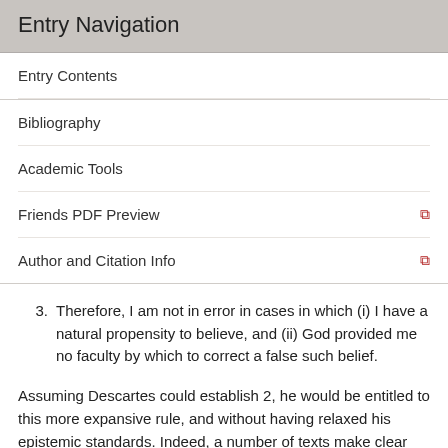Entry Navigation
Entry Contents
Bibliography
Academic Tools
Friends PDF Preview
Author and Citation Info
3. Therefore, I am not in error in cases in which (i) I have a natural propensity to believe, and (ii) God provided me no faculty by which to correct a false such belief.
Assuming Descartes could establish 2, he would be entitled to this more expansive rule, and without having relaxed his epistemic standards. Indeed, a number of texts make clear that he holds some version of premise 2. In the relevant Sixth Meditation passage, Descartes adds that from “the very fact that God is not a deceiver” there is a